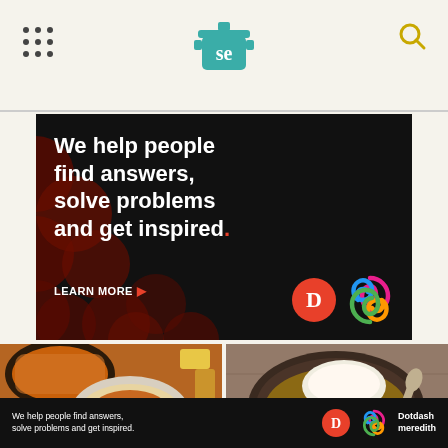SE (Serious Eats) website header with logo and navigation
[Figure (advertisement): Dotdash Meredith ad banner: dark background with red dot pattern, white bold text reading 'We help people find answers, solve problems and get inspired.' with LEARN MORE button and Dotdash/Meredith logos]
[Figure (photo): Two food photos side by side: left shows overhead view of lentil dal dishes with spices, right shows a bowl of Japanese-style curry with white rice and vegetables]
[Figure (advertisement): Bottom Dotdash Meredith ad bar: 'We help people find answers, solve problems and get inspired.' with Dotdash and Meredith logos]